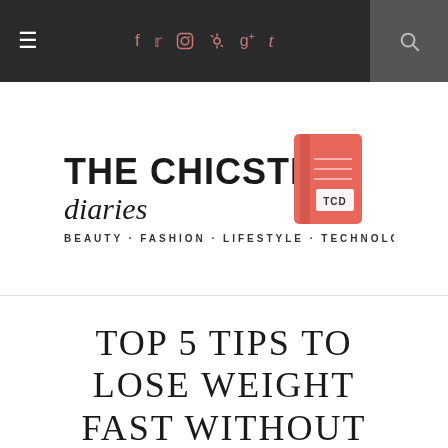≡  f  t  [instagram]  [pinterest]  g+  t  [search]
[Figure (logo): The Chicster Diaries logo: bold sans-serif 'THE CHICSTER' with cursive 'diaries' and a pink/red notebook icon with 'TCD' label. Tagline: BEAUTY · FASHION · LIFESTYLE · TECHNOLOGY]
TOP 5 TIPS TO LOSE WEIGHT FAST WITHOUT EXERCISE
4:52:00 PM